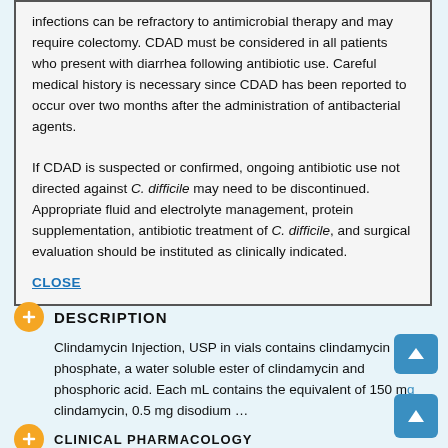infections can be refractory to antimicrobial therapy and may require colectomy. CDAD must be considered in all patients who present with diarrhea following antibiotic use. Careful medical history is necessary since CDAD has been reported to occur over two months after the administration of antibacterial agents.

If CDAD is suspected or confirmed, ongoing antibiotic use not directed against C. difficile may need to be discontinued. Appropriate fluid and electrolyte management, protein supplementation, antibiotic treatment of C. difficile, and surgical evaluation should be instituted as clinically indicated.
CLOSE
DESCRIPTION
Clindamycin Injection, USP in vials contains clindamycin phosphate, a water soluble ester of clindamycin and phosphoric acid. Each mL contains the equivalent of 150 mg clindamycin, 0.5 mg disodium ...
CLINICAL PHARMACOLOGY